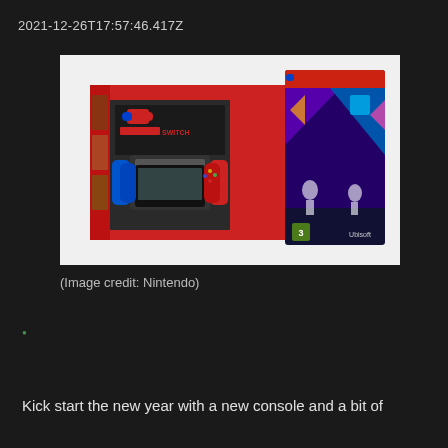2021-12-26T17:57:46.417Z
[Figure (photo): Nintendo Switch console box with neon blue/red Joy-Con controllers alongside Just Dance 2022 game case for Nintendo Switch]
(Image credit: Nintendo)
Kick start the new year with a new console and a bit of